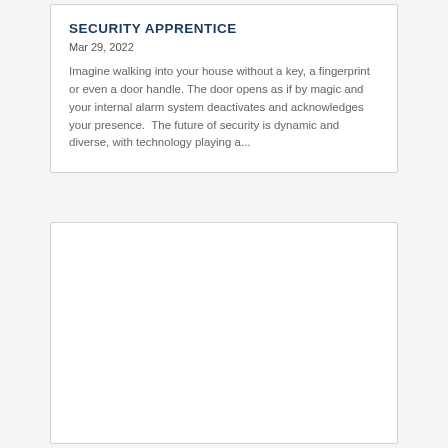SECURITY APPRENTICE
Mar 29, 2022
Imagine walking into your house without a key, a fingerprint or even a door handle. The door opens as if by magic and your internal alarm system deactivates and acknowledges your presence.  The future of security is dynamic and diverse, with technology playing a...
[Figure (other): Empty white card/content block below the article card]